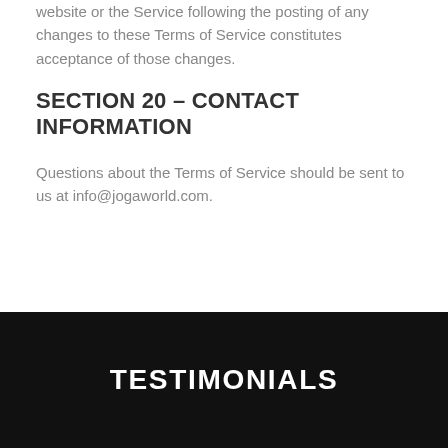website or the Service following the posting of any changes to these Terms of Service constitutes acceptance of those changes.
SECTION 20 – CONTACT INFORMATION
Questions about the Terms of Service should be sent to us at info@jogaworld.com.
TESTIMONIALS